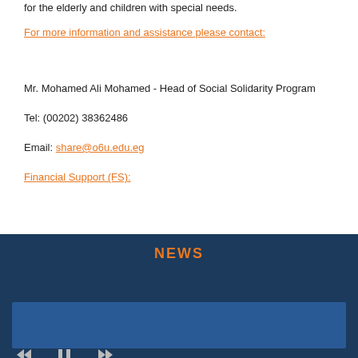for the elderly and children with special needs.
For more information and assistance please contact:
Mr. Mohamed Ali Mohamed - Head of Social Solidarity Program
Tel: (00202) 38362486
Email: share@o6u.edu.eg
Financial Support (FS):
NEWS
[Figure (other): Blue news carousel box with media controls (rewind, pause, fast-forward)]